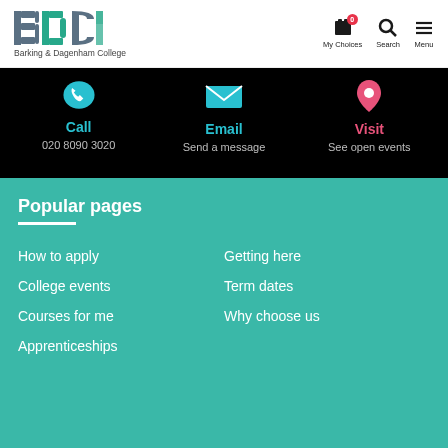[Figure (logo): Barking & Dagenham College logo with BDCA letters and college name]
My Choices
Search
Menu
Call
020 8090 3020
Email
Send a message
Visit
See open events
Popular pages
How to apply
College events
Courses for me
Apprenticeships
Getting here
Term dates
Why choose us